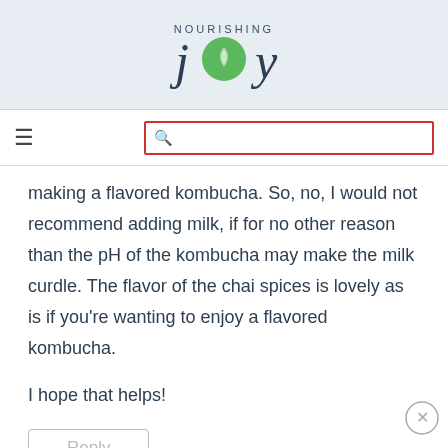[Figure (logo): Nourishing Joy logo with green circular leaf icon and text 'NOURISHING joy']
making a flavored kombucha. So, no, I would not recommend adding milk, if for no other reason than the pH of the kombucha may make the milk curdle. The flavor of the chai spices is lovely as is if you're wanting to enjoy a flavored kombucha.
I hope that helps!